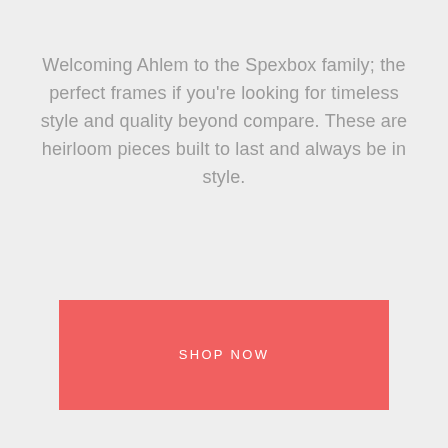Welcoming Ahlem to the Spexbox family; the perfect frames if you're looking for timeless style and quality beyond compare. These are heirloom pieces built to last and always be in style.
[Figure (other): Red rectangular button with white uppercase text reading SHOP NOW]